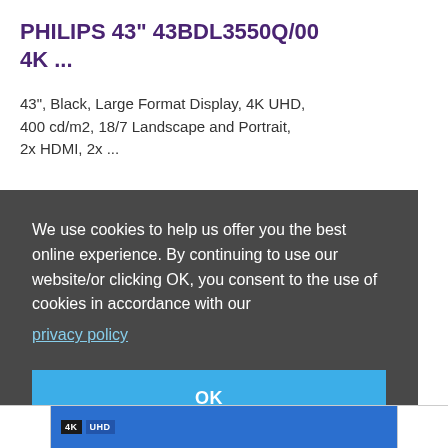PHILIPS 43" 43BDL3550Q/00 4K ...
43", Black, Large Format Display, 4K UHD, 400 cd/m2, 18/7 Landscape and Portrait, 2x HDMI, 2x ...
We use cookies to help us offer you the best online experience. By continuing to use our website/or clicking OK, you consent to the use of cookies in accordance with our privacy policy